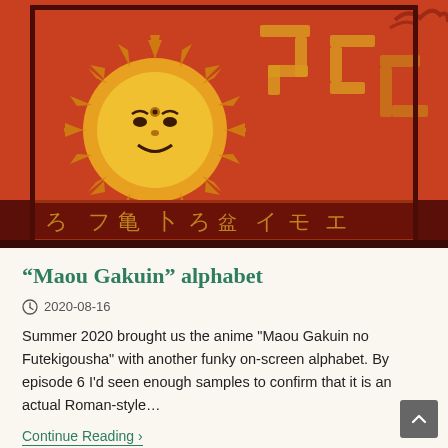[Figure (illustration): Decorative illustration featuring a stylized sun with a face in yellow-orange tones on a red/dark brown background, surrounded by maze-like geometric patterns and pseudo-runic or fictional script characters along the bottom border. The style is reminiscent of Aztec or fantasy art.]
“Maou Gakuin” alphabet
2020-08-16
Summer 2020 brought us the anime "Maou Gakuin no Futekigousha" with another funky on-screen alphabet. By episode 6 I’d seen enough samples to confirm that it is an actual Roman-style…
Continue Reading ›